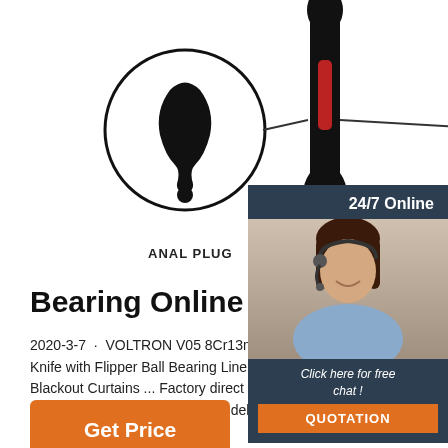[Figure (photo): Product image showing anal plug and prostate massager with circular detail callouts, in black and red colors]
ANAL PLUG
PROSTA...
Bearing Online Deals
2020-3-7 · VOLTRON V05 8Cr13mov Blade G10 H... Knife with Flipper Ball Bearing Liner Lock ... Cartoo... Blackout Curtains ... Factory direct prices for maxim... Express Shipping. Fast, reliable delivery from globa...
[Figure (photo): 24/7 Online chat widget with customer service representative photo, 'Click here for free chat!' text, and orange QUOTATION button]
Get Price
[Figure (illustration): Orange and dotted triangle TOP icon with the word TOP underneath]